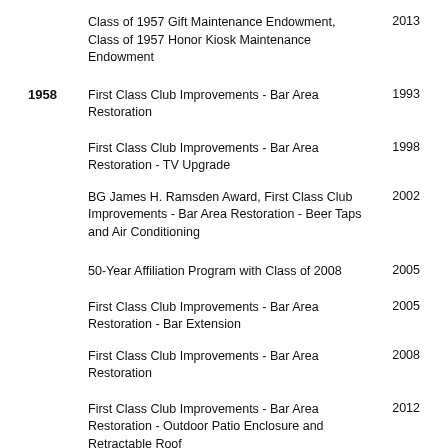Class of 1957 Gift Maintenance Endowment, Class of 1957 Honor Kiosk Maintenance Endowment
First Class Club Improvements -  Bar Area Restoration
First Class Club Improvements -  Bar Area Restoration - TV Upgrade
BG James H. Ramsden Award, First Class Club Improvements - Bar Area Restoration - Beer Taps and Air Conditioning
50-Year Affiliation Program with Class of 2008
First Class Club Improvements - Bar Area Restoration - Bar Extension
First Class Club Improvements - Bar Area Restoration
First Class Club Improvements - Bar Area Restoration - Outdoor Patio Enclosure and Retractable Roof